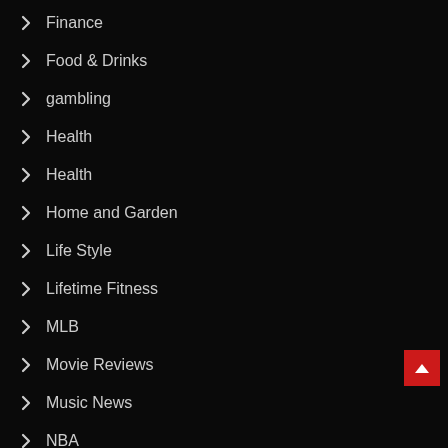Finance
Food & Drinks
gambling
Health
Health
Home and Garden
Life Style
Lifetime Fitness
MLB
Movie Reviews
Music News
NBA
NFL
NHL
Personal Finance